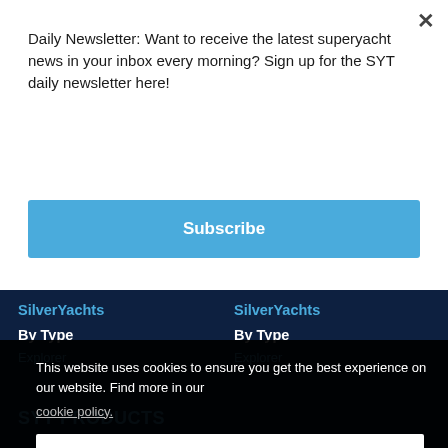Daily Newsletter: Want to receive the latest superyacht news in your inbox every morning? Sign up for the SYT daily newsletter here!
Subscribe
SilverYachts
By Type
Explorer
SilverYachts
By Type
Explorer
This website uses cookies to ensure you get the best experience on our website. Find more in our
cookie policy.
Got it!
SYT PRODUCTS